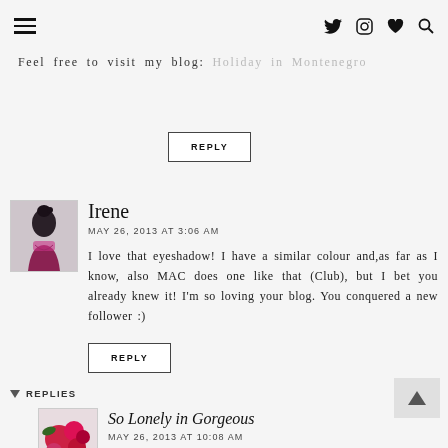≡  (twitter) (instagram) (heart) (search)
Feel free to visit my blog: Holiday in Montenegro
REPLY
Irene
MAY 26, 2013 AT 3:06 AM
I love that eyeshadow! I have a similar colour and,as far as I know, also MAC does one like that (Club), but I bet you already knew it! I'm so loving your blog. You conquered a new follower :)
REPLY
▾ REPLIES
So Lonely in Gorgeous
MAY 26, 2013 AT 10:08 AM